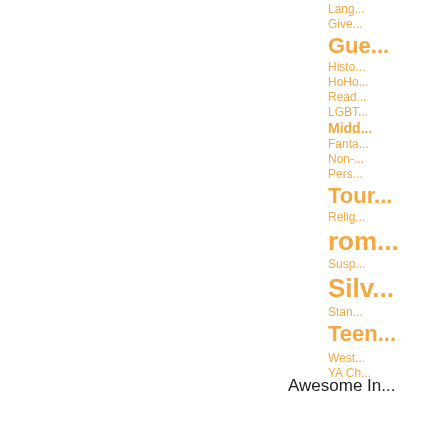Lang...
Give...
Gue...
Histo...
HoHo...
Read...
LGBT...
Midd...
Fanta...
Non-...
Pers...
Tour...
Relig...
rom...
Susp...
Silv...
Stan...
Teen...
West...
YA Ch...
Awesome In...